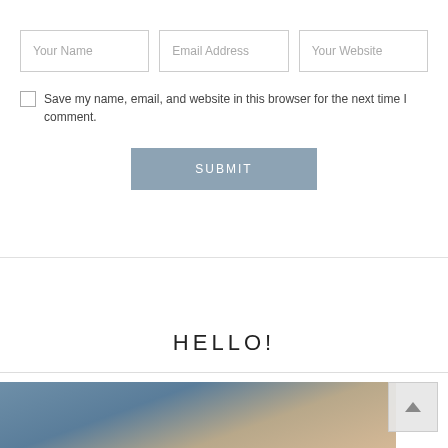Your Name | Email Address | Your Website
Save my name, email, and website in this browser for the next time I comment.
SUBMIT
HELLO!
[Figure (photo): Blurred photo of small wooden or tan-colored objects (possibly corks or pegs) scattered on a blue background, partially visible at the bottom of the page.]